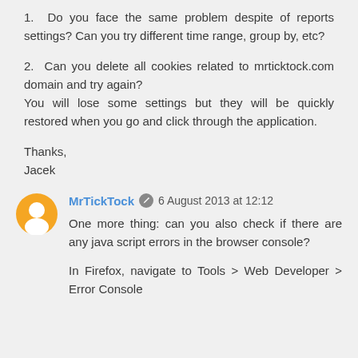1.  Do you face the same problem despite of reports settings? Can you try different time range, group by, etc?
2.  Can you delete all cookies related to mrticktock.com domain and try again? You will lose some settings but they will be quickly restored when you go and click through the application.
Thanks,
Jacek
MrTickTock  6 August 2013 at 12:12
One more thing: can you also check if there are any java script errors in the browser console?
In Firefox, navigate to Tools > Web Developer > Error Console